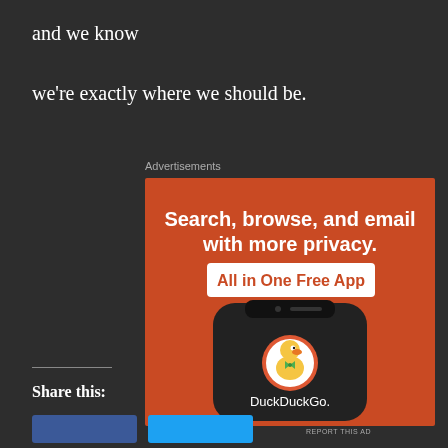and we know
we're exactly where we should be.
Advertisements
[Figure (infographic): DuckDuckGo advertisement banner on orange background. Text reads 'Search, browse, and email with more privacy. All in One Free App' with a smartphone showing DuckDuckGo app logo.]
REPORT THIS AD
Share this: